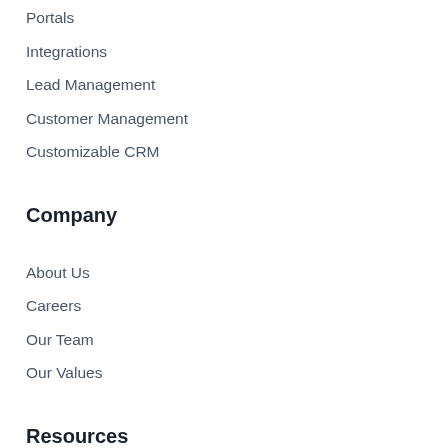Portals
Integrations
Lead Management
Customer Management
Customizable CRM
Company
About Us
Careers
Our Team
Our Values
Resources
Blog
Guides, videos, and more
Customer Stories
Release Notes
Find a Method:Partner
Be a Method:Partner
Developers